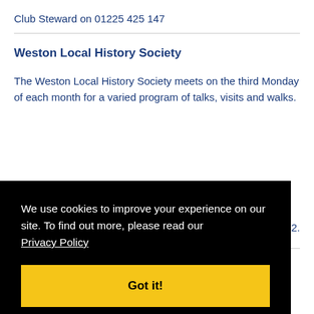Club Steward on 01225 425 147
Weston Local History Society
The Weston Local History Society meets on the third Monday of each month for a varied program of talks, visits and walks.
5342.
We use cookies to improve your experience on our site. To find out more, please read our Privacy Policy
Got it!
Weston Mummers